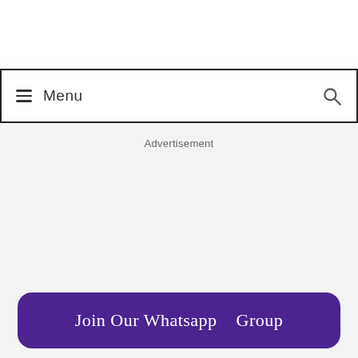☰ Menu
Advertisement
Join Our Whatsapp Group